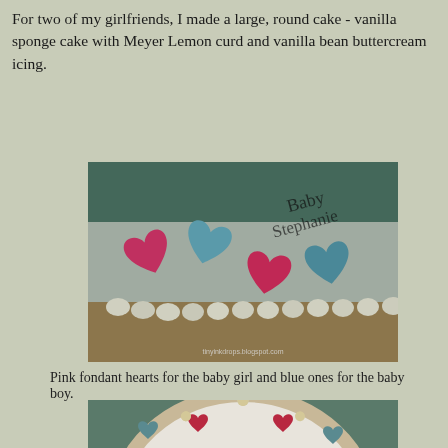For two of my girlfriends, I made a large, round cake - vanilla sponge cake with Meyer Lemon curd and vanilla bean buttercream icing.
[Figure (photo): Close-up photo of a cake decorated with pink and blue fondant heart shapes and white buttercream piping along the edge, with handwritten text visible in the background.]
Pink fondant hearts for the baby girl and blue ones for the baby boy.
[Figure (photo): Top-down photo of a round cake with white buttercream frosting, decorated with blue and red fondant hearts around the edge, with handwritten text reading 'Congrats Moms-to-be Chrissy & Stephanie!!']